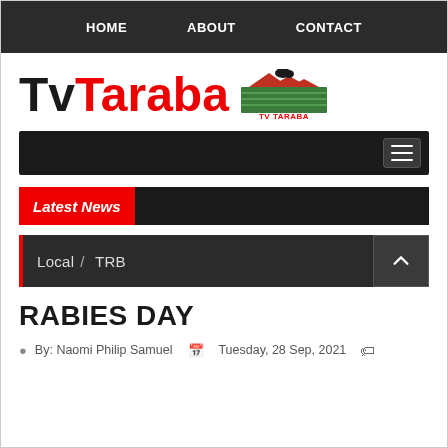HOME   ABOUT   CONTACT
[Figure (logo): TvTaraba logo with red Taraba text and small TV Taraba emblem on the right]
Latest News
Local / TRB
RABIES DAY
By: Naomi Philip Samuel   Tuesday, 28 Sep, 2021